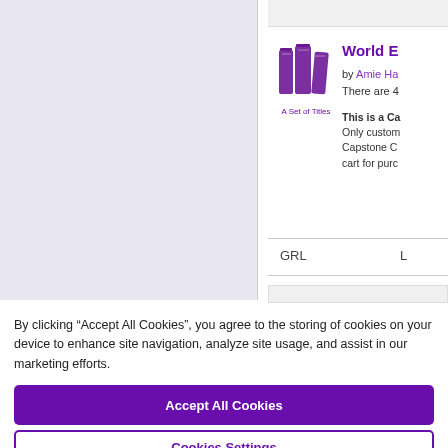[Figure (illustration): Light purple/lavender book cover image area on the left side of the page]
[Figure (logo): Purple books icon with label 'A Set of Titles' underneath]
World E
by Amie Ha
There are 4
This is a Ca
Only custom
Capstone C
cart for purc
GRL
L
By clicking “Accept All Cookies”, you agree to the storing of cookies on your device to enhance site navigation, analyze site usage, and assist in our marketing efforts.
Accept All Cookies
Cookies Settings